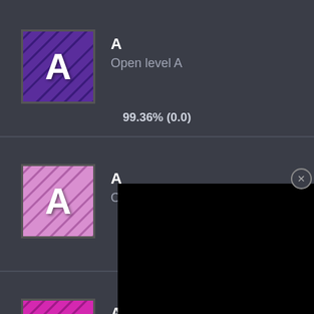[Figure (screenshot): Game achievement icon: purple 'A' letter on purple hatched background with dark border]
A
Open level A
99.36% (0.0)
[Figure (screenshot): Game achievement icon: pink 'A' letter on light pink hatched background with dark border]
A
Open level A
99.38%
[Figure (screenshot): Game achievement icon: white 'A' letter on bright magenta hatched background with dark border]
A
Open level A